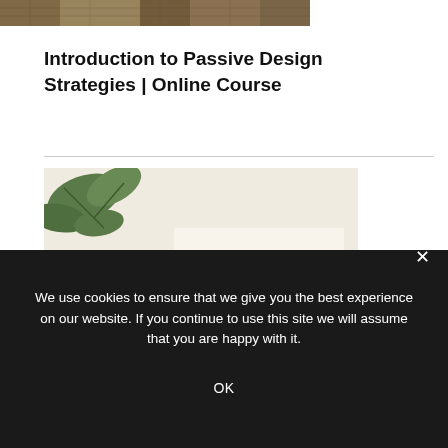[Figure (photo): Cropped top portion of a textured/crafted image, partially visible at the top of the page]
Introduction to Passive Design Strategies | Online Course
[Figure (photo): A hand holding a pen writing on paper with text 'PASSIVE DESIGN STRATEGIES' in gold/brown letters, with green leaves in the background]
We use cookies to ensure that we give you the best experience on our website. If you continue to use this site we will assume that you are happy with it.
OK